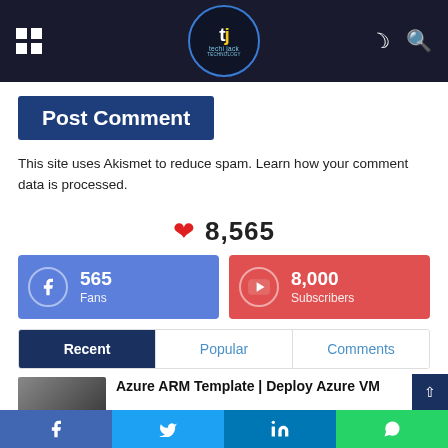techi jack - navigation header
Post Comment
This site uses Akismet to reduce spam. Learn how your comment data is processed.
❤ 8,565
565 Fans (Facebook)
8,000 Subscribers (YouTube)
Recent | Popular | Comments
Azure ARM Template | Deploy Azure VM
Facebook | Twitter | LinkedIn | WhatsApp share buttons